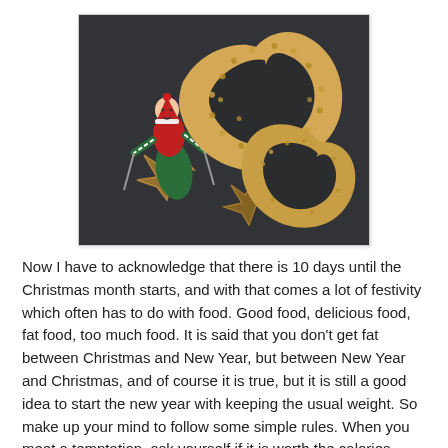[Figure (photo): Photo showing a Christmas elf figurine with red hat and green striped outfit standing on a golden star cookie cutter, alongside two crescent-shaped sesame seed cookies on a dark background.]
Now I have to acknowledge that there is 10 days until the Christmas month starts, and with that comes a lot of festivity which often has to do with food. Good food, delicious food, fat food, too much food. It is said that you don't get fat between Christmas and New Year, but between New Year and Christmas, and of course it is true, but it is still a good idea to start the new year with keeping the usual weight. So make up your mind to follow some simple rules. When you meet a temptation, ask yourself if it is worth the calories. Only eat first class food. Eat quality and not quantity, little but good. If you are invited to at buffet or lunch, then only eat the